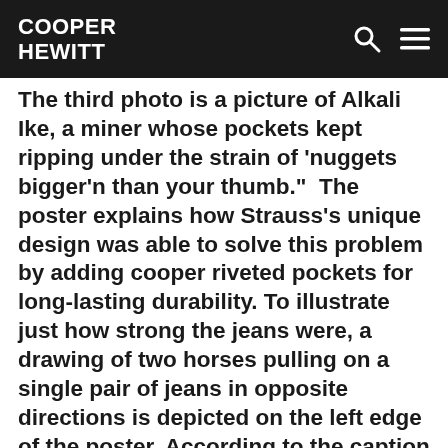COOPER HEWITT
The third photo is a picture of Alkali Ike, a miner whose pockets kept ripping under the strain of 'nuggets bigger'n than your thumb.”  The poster explains how Strauss’s unique design was able to solve this problem by adding cooper riveted pockets for long-lasting durability. To illustrate just how strong the jeans were, a drawing of two horses pulling on a single pair of jeans in opposite directions is depicted on the left edge of the poster. According to the caption below the illustration, Strauss did an “incredible torture test… devised to show just how tough the original shrink-to-fit blue jeans with cooper riveted pockets really were. Wild horses couldn’t tear them apart.”
The last two factoids include product accessories such as the leather patch that is on the right hip of